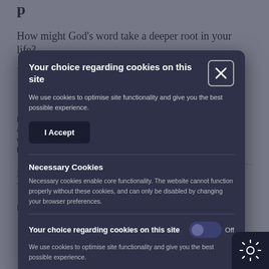How might God’s word take a deeper root in your life?
[Figure (screenshot): Cookie consent modal dialog overlay on a webpage. The modal has a dark navy/slate background with a close button (X) in the top right. It contains: a title 'Your choice regarding cookies on this site', descriptive text, an 'I Accept' button, a 'Necessary Cookies' section, and a second 'Your choice regarding cookies on this site' section with an Off toggle. A gear/settings icon appears in the bottom-right corner.]